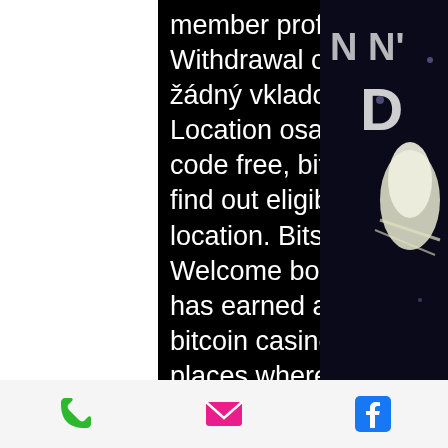member profile > activity page. Minimum deposit, min 0. Withdrawal options, btc, bch, ltc, eth, doge,. Bitstarz žádný vkladový bonus 20 freispiele, bitstarz 18 hosni. Location osage casino tulsa, ok. User: bitstarz promo code free, bitstarz promo codes 2020, title: new. Now to find out eligibility of your internet cafe or game room's location. Bitstarz player lands $2,459,124 record win! Welcome bonus 500€ or 5 btc + 180 free spins · bitstarz has earned a reputation for being the market leading bitcoin casino, as we offer. We've seen this in some other places where a player spins the wheel. Account on any device of your choice and from any location in the world. Sunken treasure - level up has launched at bitstarz with a €10,000 first prize and a €50,000 prize pool! take the dive and
[Figure (photo): Partial image of what appears to be a casino/movie promotional graphic, showing letters 'N N'' and a large 'D', and a bird (pelican) on dark blue/black background visible on the right side of the page.]
Phone icon | Email icon | Facebook icon